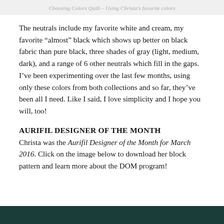Choosing Colors Quilt – Using Christa's favorite colors
The neutrals include my favorite white and cream, my favorite “almost” black which shows up better on black fabric than pure black, three shades of gray (light, medium, dark), and a range of 6 other neutrals which fill in the gaps. I’ve been experimenting over the last few months, using only these colors from both collections and so far, they’ve been all I need. Like I said, I love simplicity and I hope you will, too!
AURIFIL DESIGNER OF THE MONTH
Christa was the Aurifil Designer of the Month for March 2016. Click on the image below to download her block pattern and learn more about the DOM program!
[Figure (photo): Dark teal/green colored banner image at the bottom of the page]